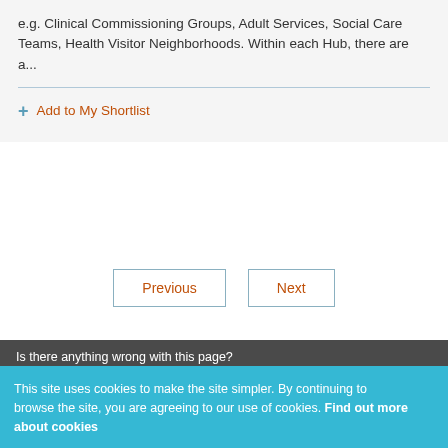e.g. Clinical Commissioning Groups, Adult Services, Social Care Teams, Health Visitor Neighborhoods. Within each Hub, there are a...
+ Add to My Shortlist
Previous
Next
Is there anything wrong with this page?
This site uses cookies to make the site simpler. By continuing to browse the site, you are agreeing to our use of cookies. Find out more about cookies